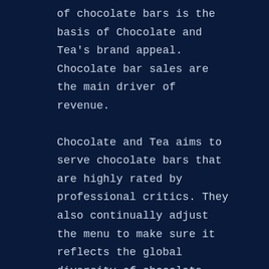of chocolate bars is the basis of Chocolate and Tea's brand appeal. Chocolate bar sales are the main driver of revenue.
Chocolate and Tea aims to serve chocolate bars that are highly rated by professional critics. They also continually adjust the menu to make sure it reflects the global diversity of chocolate production. The management team regularly updates the chocolate bar list in order to align with the latest ratings and to ensure that the list contains bars from a variety of countries.